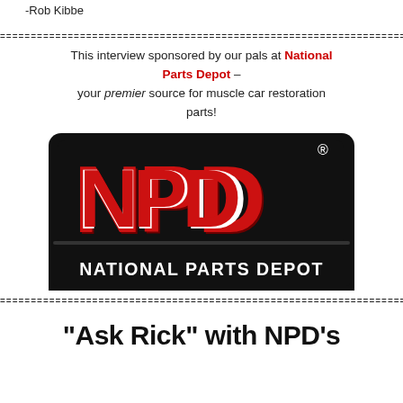-Rob Kibbe
================================================
This interview sponsored by our pals at National Parts Depot – your premier source for muscle car restoration parts!
[Figure (logo): National Parts Depot (NPD) logo — large red and white letters NPD on black background with 'NATIONAL PARTS DEPOT' text below]
================================================
“Ask Rick” with NPD’s